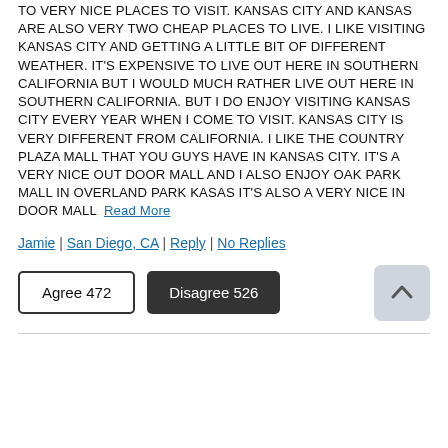TO VERY NICE PLACES TO VISIT. KANSAS CITY AND KANSAS ARE ALSO VERY TWO CHEAP PLACES TO LIVE. I LIKE VISITING KANSAS CITY AND GETTING A LITTLE BIT OF DIFFERENT WEATHER. IT'S EXPENSIVE TO LIVE OUT HERE IN SOUTHERN CALIFORNIA BUT I WOULD MUCH RATHER LIVE OUT HERE IN SOUTHERN CALIFORNIA. BUT I DO ENJOY VISITING KANSAS CITY EVERY YEAR WHEN I COME TO VISIT. KANSAS CITY IS VERY DIFFERENT FROM CALIFORNIA. I LIKE THE COUNTRY PLAZA MALL THAT YOU GUYS HAVE IN KANSAS CITY. IT'S A VERY NICE OUT DOOR MALL AND I ALSO ENJOY OAK PARK MALL IN OVERLAND PARK KASAS IT'S ALSO A VERY NICE IN DOOR MALL Read More
Jamie | San Diego, CA | Reply | No Replies
Agree 472   Disagree 526